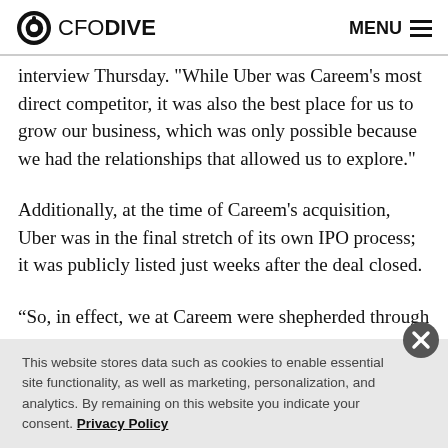CFO DIVE | MENU
interview Thursday. "While Uber was Careem's most direct competitor, it was also the best place for us to grow our business, which was only possible because we had the relationships that allowed us to explore."
Additionally, at the time of Careem's acquisition, Uber was in the final stretch of its own IPO process; it was publicly listed just weeks after the deal closed.
“So, in effect, we at Careem were shepherded through a
This website stores data such as cookies to enable essential site functionality, as well as marketing, personalization, and analytics. By remaining on this website you indicate your consent. Privacy Policy